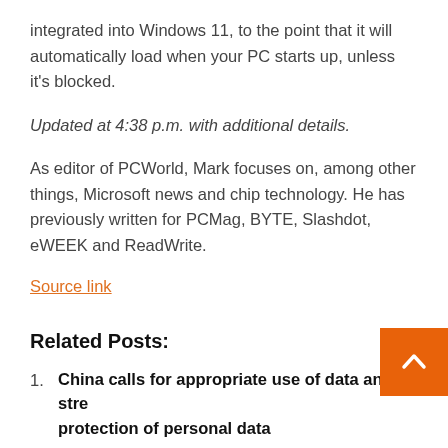integrated into Windows 11, to the point that it will automatically load when your PC starts up, unless it's blocked.
Updated at 4:38 p.m. with additional details.
As editor of PCWorld, Mark focuses on, among other things, Microsoft news and chip technology. He has previously written for PCMag, BYTE, Slashdot, eWEEK and ReadWrite.
Source link
Related Posts:
China calls for appropriate use of data and strengthening protection of personal data
How the pandemic has changed the use of LEDs in